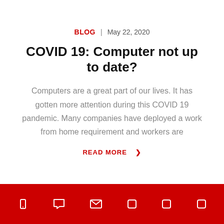BLOG | May 22, 2020
COVID 19: Computer not up to date?
Computers are a great part of our lives. It has gotten more attention during this COVID 19 pandemic. Many companies have deployed a work from home requirement and workers are
READ MORE ❯
[icon bar with phone, chat, mail, and social icons]